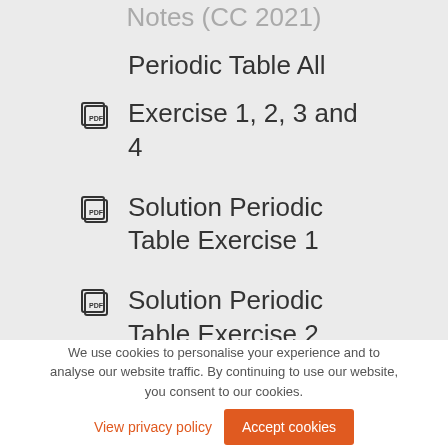Notes (CC 2021)
Periodic Table All
Exercise 1, 2, 3 and 4
Solution Periodic Table Exercise 1
Solution Periodic Table Exercise 2
We use cookies to personalise your experience and to analyse our website traffic. By continuing to use our website, you consent to our cookies.
View privacy policy
Accept cookies